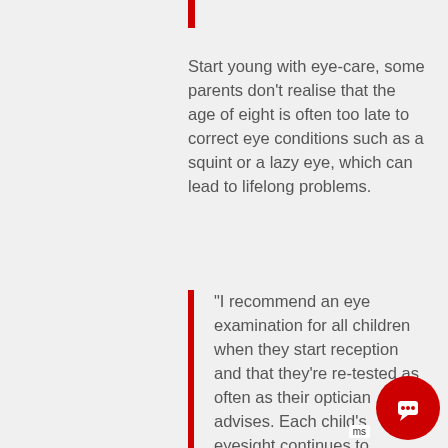Start young with eye-care, some parents don't realise that the age of eight is often too late to correct eye conditions such as a squint or a lazy eye, which can lead to lifelong problems.
“I recommend an eye examination for all children when they start reception and that they’re re-tested as often as their optician advises. Each child’s eyesight continues to develop right up to the age of eight and a number of eye-care issues can be corrected